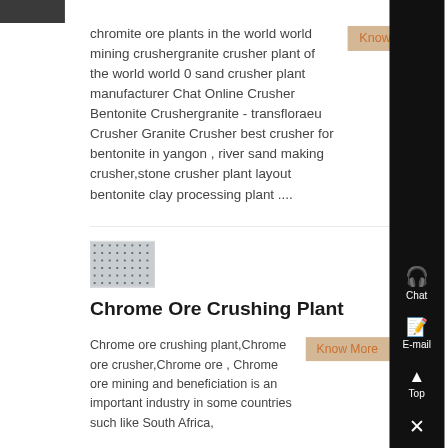[Figure (photo): Dark thumbnail image, appears to show industrial/mining equipment]
chromite ore plants in the world world mining crushergranite crusher plant of the world world 0 sand crusher plant manufacturer Chat Online Crusher Bentonite Crushergranite - transfloraeu Crusher Granite Crusher best crusher for bentonite in yangon , river sand making crusher,stone crusher plant layout bentonite clay processing plant ....
[Figure (photo): Thumbnail image showing a room or facility with ceiling-mounted equipment and dots/spotlights pattern, framed with border]
Chrome Ore Crushing Plant
Chrome ore crushing plant,Chrome ore crusher,Chrome ore , Chrome ore mining and beneficiation is an important industry in some countries such like South Africa,